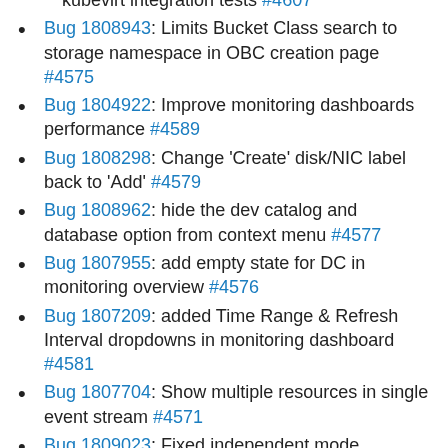kubevirt integration tests #4607
Bug 1808943: Limits Bucket Class search to storage namespace in OBC creation page #4575
Bug 1804922: Improve monitoring dashboards performance #4589
Bug 1808298: Change 'Create' disk/NIC label back to 'Add' #4579
Bug 1808962: hide the dev catalog and database option from context menu #4577
Bug 1807955: add empty state for DC in monitoring overview #4576
Bug 1807209: added Time Range & Refresh Interval dropdowns in monitoring dashboard #4581
Bug 1807704: Show multiple resources in single event stream #4571
Bug 1809023: Fixed independent mode dashboard issues #4582
Bug 1808867: Independent mode bug fixes #4572
Bug 1807622: Fix async bug where models not